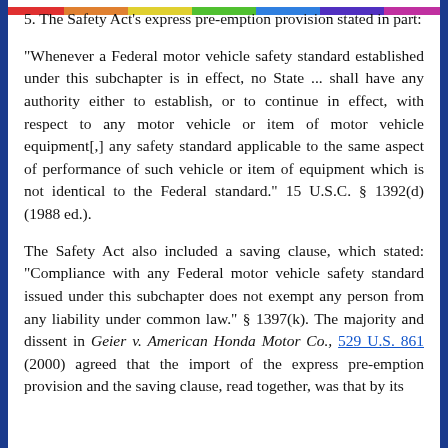5. The Safety Act's express pre-emption provision stated in part:
"Whenever a Federal motor vehicle safety standard established under this subchapter is in effect, no State ... shall have any authority either to establish, or to continue in effect, with respect to any motor vehicle or item of motor vehicle equipment[,] any safety standard applicable to the same aspect of performance of such vehicle or item of equipment which is not identical to the Federal standard." 15 U.S.C. § 1392(d) (1988 ed.).
The Safety Act also included a saving clause, which stated: "Compliance with any Federal motor vehicle safety standard issued under this subchapter does not exempt any person from any liability under common law." § 1397(k). The majority and dissent in Geier v. American Honda Motor Co., 529 U.S. 861 (2000) agreed that the import of the express pre-emption provision and the saving clause, read together, was that by its